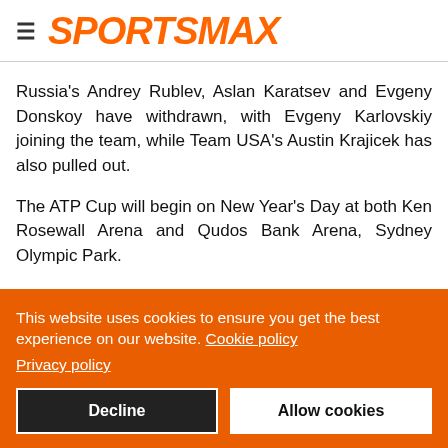SPORTSMAX
Russia's Andrey Rublev, Aslan Karatsev and Evgeny Donskoy have withdrawn, with Evgeny Karlovskiy joining the team, while Team USA's Austin Krajicek has also pulled out.
The ATP Cup will begin on New Year's Day at both Ken Rosewall Arena and Qudos Bank Arena, Sydney Olympic Park.
This website uses cookies to ensure you get the best experience on our website. Cookie policy Privacy policy
Decline
Allow cookies